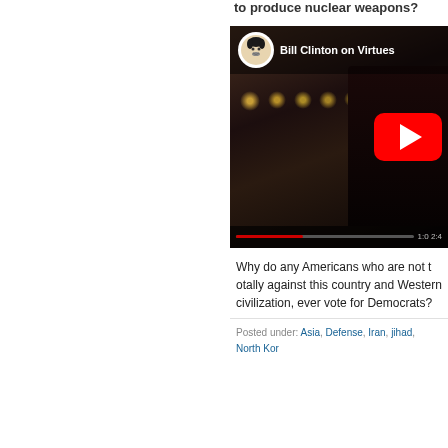to produce nuclear weapons?
[Figure (screenshot): YouTube video embed showing Bill Clinton on Virtues, with a cartoon avatar icon, red YouTube play button, and progress bar at bottom]
Why do any Americans who are not totally against this country and Western civilization, ever vote for Democrats?
Posted under: Asia, Defense, Iran, jihad, North Kor...